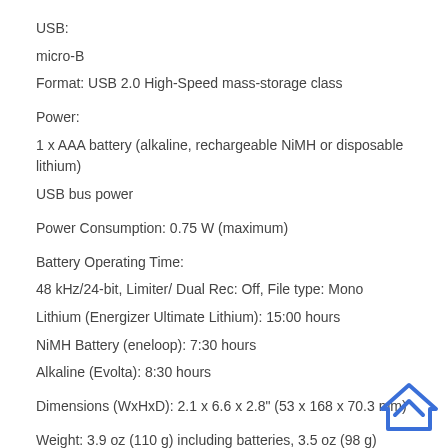USB:
micro-B
Format: USB 2.0 High-Speed mass-storage class
Power:
1 x AAA battery (alkaline, rechargeable NiMH or disposable lithium)
USB bus power
Power Consumption: 0.75 W (maximum)
Battery Operating Time:
48 kHz/24-bit, Limiter/ Dual Rec: Off, File type: Mono
Lithium (Energizer Ultimate Lithium): 15:00 hours
NiMH Battery (eneloop): 7:30 hours
Alkaline (Evolta): 8:30 hours
Dimensions (WxHxD): 2.1 x 6.6 x 2.8" (53 x 168 x 70.3 mm)
Weight: 3.9 oz (110 g) including batteries, 3.5 oz (98 g) without batteries
[Figure (logo): Blue house/chevron logo icon in bottom right corner]